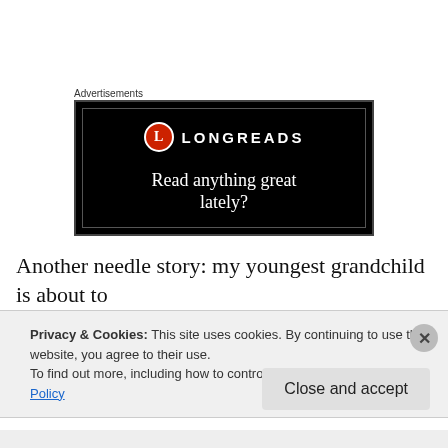Advertisements
[Figure (screenshot): Longreads advertisement banner on black background. Shows Longreads logo (red circle with L) and text 'Read anything great lately?']
Another needle story: my youngest grandchild is about to
Privacy & Cookies: This site uses cookies. By continuing to use this website, you agree to their use.
To find out more, including how to control cookies, see here: Cookie Policy
Close and accept